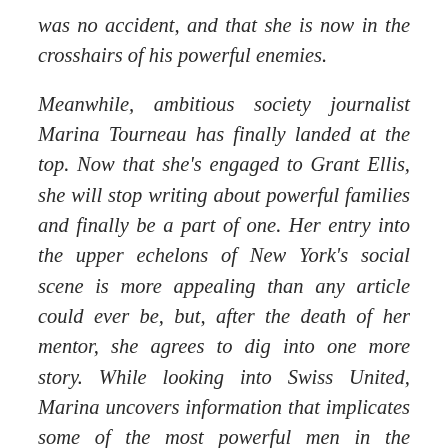was no accident, and that she is now in the crosshairs of his powerful enemies.

Meanwhile, ambitious society journalist Marina Tourneau has finally landed at the top. Now that she's engaged to Grant Ellis, she will stop writing about powerful families and finally be a part of one. Her entry into the upper echelons of New York's social scene is more appealing than any article could ever be, but, after the death of her mentor, she agrees to dig into one more story. While looking into Swiss United, Marina uncovers information that implicates some of the most powerful men in the financial world, including some who are too close to home. The story could also be the answer to Annabel's heartbreaking search — if Marina chooses to